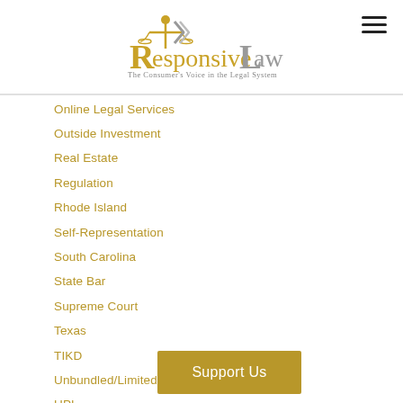[Figure (logo): Responsive Law logo — scales of justice icon with gold R, gray 'esponsive Law' text, tagline 'The Consumer's Voice in the Legal System']
Online Legal Services
Outside Investment
Real Estate
Regulation
Rhode Island
Self-Representation
South Carolina
State Bar
Supreme Court
Texas
TIKD
Unbundled/Limited Scope
UPL
Utah
Virginia
[Figure (other): Support Us button — gold/amber rectangular button with white text 'Support Us']